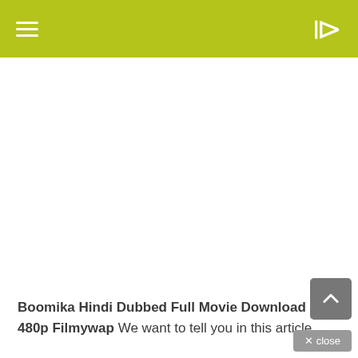☰  )
[Figure (other): Large white/blank advertisement or image placeholder area below the navigation bar]
Boomika Hindi Dubbed Full Movie Download HD 480p Filmywap We want to tell you in this article today that if you want to watch Boomika Movie...